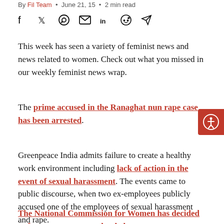By Fil Team • June 21, 15 • 2 min read
[Figure (infographic): Social media sharing icons: Facebook, Twitter, WhatsApp, Email, LinkedIn, Reddit, Telegram]
This week has seen a variety of feminist news and news related to women. Check out what you missed in our weekly feminist news wrap.
The prime accused in the Ranaghat nun rape case has been arrested.
Greenpeace India admits failure to create a healthy work environment including lack of action in the event of sexual harassment. The events came to public discourse, when two ex-employees publicly accused one of the employees of sexual harassment and rape.
The National Commission for Women has decided to form an expert panel to help